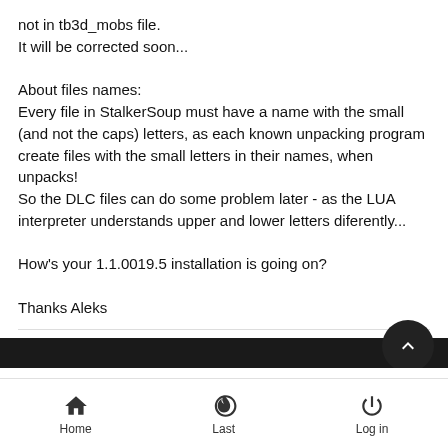not in tb3d_mobs file.
It will be corrected soon...

About files names:
Every file in StalkerSoup must have a name with the small (and not the caps) letters, as each known unpacking program create files with the small letters in their names, when unpacks!
So the DLC files can do some problem later - as the LUA interpreter understands upper and lower letters diferently...

How's your 1.1.0019.5 installation is going on?

Thanks Aleks
Like   Dislike
Wed 1 Jun 2022 - 8:01
Home   Last   Log in